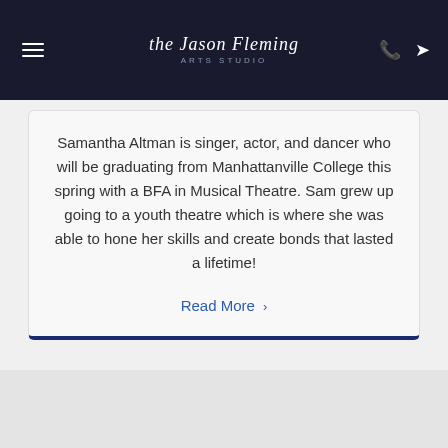Navigation bar with hamburger menu, logo (The Jason Fleming Arts Studio), phone and location icons
Samantha Altman is singer, actor, and dancer who will be graduating from Manhattanville College this spring with a BFA in Musical Theatre. Sam grew up going to a youth theatre which is where she was able to hone her skills and create bonds that lasted a lifetime!
Read More >